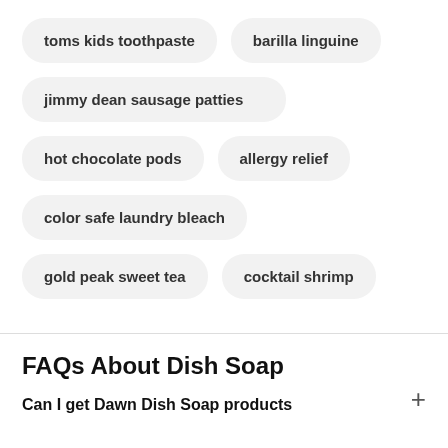toms kids toothpaste
barilla linguine
jimmy dean sausage patties
hot chocolate pods
allergy relief
color safe laundry bleach
gold peak sweet tea
cocktail shrimp
FAQs About Dish Soap
Can I get Dawn Dish Soap products delivered?